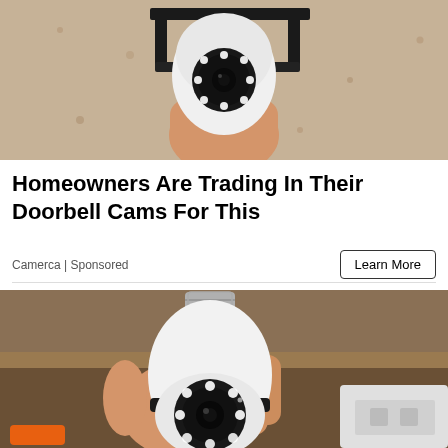[Figure (photo): A security camera mounted on a wall bracket with ceiling/wall texture visible in background]
Homeowners Are Trading In Their Doorbell Cams For This
Camerca | Sponsored
[Figure (photo): A hand holding a white bulb-shaped security camera with a screw base at top and camera lens with LED ring at front]